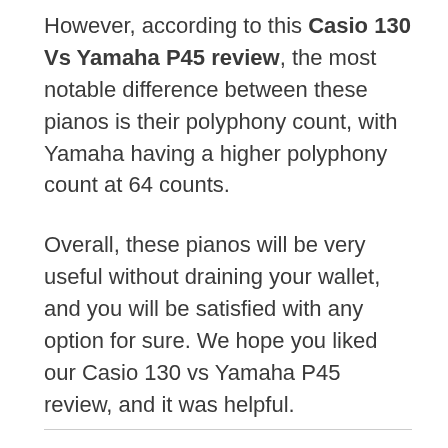However, according to this Casio 130 Vs Yamaha P45 review, the most notable difference between these pianos is their polyphony count, with Yamaha having a higher polyphony count at 64 counts.
Overall, these pianos will be very useful without draining your wallet, and you will be satisfied with any option for sure. We hope you liked our Casio 130 vs Yamaha P45 review, and it was helpful.